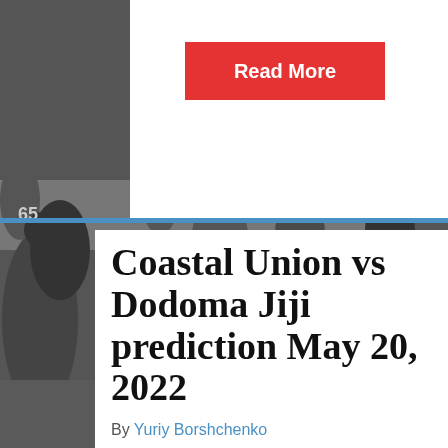[Figure (photo): Black and white photograph of American football players in action on a field, used as background image.]
Read More
Coastal Union vs Dodoma Jiji prediction May 20, 2022
By Yuriy Borshchenko